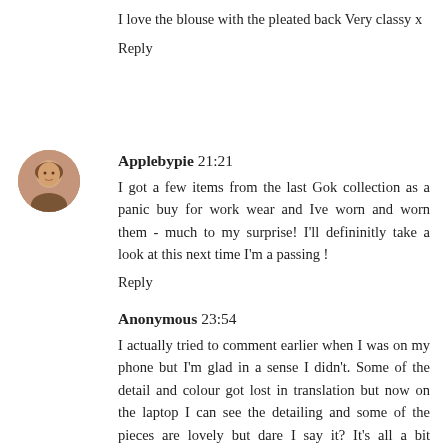I love the blouse with the pleated back Very classy x
Reply
Applebypie 21:21
I got a few items from the last Gok collection as a panic buy for work wear and Ive worn and worn them - much to my surprise! I'll defininitly take a look at this next time I'm a passing !
Reply
Anonymous 23:54
I actually tried to comment earlier when I was on my phone but I'm glad in a sense I didn't. Some of the detail and colour got lost in translation but now on the laptop I can see the detailing and some of the pieces are lovely but dare I say it? It's all a bit conservative? Where is the statement red lace dress or the stand out piece. I like it ok but think I